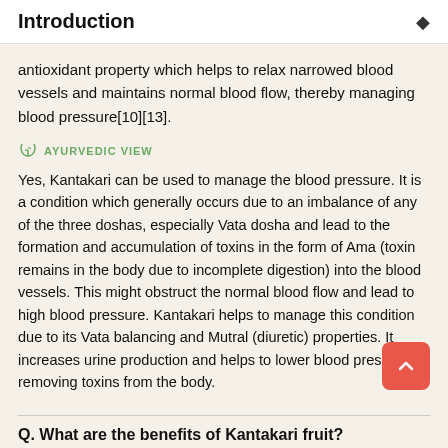Introduction
antioxidant property which helps to relax narrowed blood vessels and maintains normal blood flow, thereby managing blood pressure[10][13].
AYURVEDIC VIEW
Yes, Kantakari can be used to manage the blood pressure. It is a condition which generally occurs due to an imbalance of any of the three doshas, especially Vata dosha and lead to the formation and accumulation of toxins in the form of Ama (toxin remains in the body due to incomplete digestion) into the blood vessels. This might obstruct the normal blood flow and lead to high blood pressure. Kantakari helps to manage this condition due to its Vata balancing and Mutral (diuretic) properties. It increases urine production and helps to lower blood pressure by removing toxins from the body.
Q. What are the benefits of Kantakari fruit?